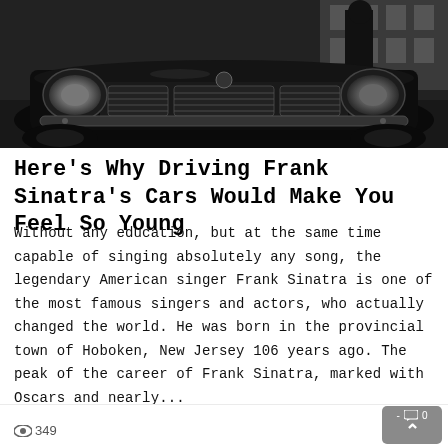[Figure (photo): Black and white photograph of a vintage classic car (front grille and headlights prominent) with a person in dark clothing visible in the background near a building.]
Here's Why Driving Frank Sinatra's Cars Would Make You Feel So Young
Without any education, but at the same time capable of singing absolutely any song, the legendary American singer Frank Sinatra is one of the most famous singers and actors, who actually changed the world. He was born in the provincial town of Hoboken, New Jersey 106 years ago. The peak of the career of Frank Sinatra, marked with Oscars and nearly...
👁 349   - 💬 0